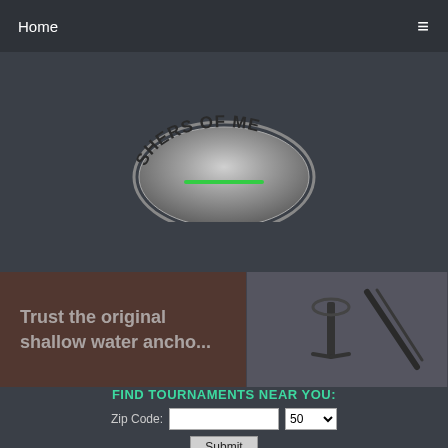Home   ≡
[Figure (logo): Circular emblem logo showing text 'SHERS OF ME' visible in an arc, with a green horizontal line below the text on a metallic badge/coin style design]
[Figure (photo): Banner split into two sections: left dark brownish overlay with italic text 'Trust the original shallow water ancho' and right section showing a dark image of what appears to be a boat anchor or equipment]
FIND TOURNAMENTS NEAR YOU:
Zip Code:
50
Submit